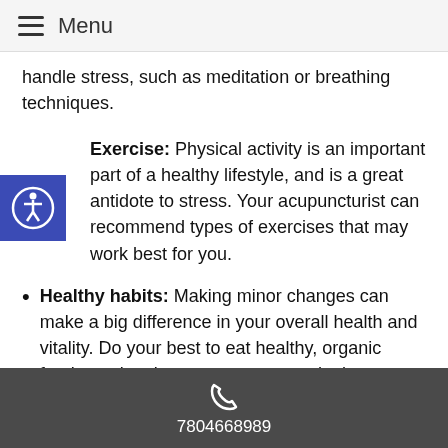Menu
handle stress, such as meditation or breathing techniques.
Exercise: Physical activity is an important part of a healthy lifestyle, and is a great antidote to stress. Your acupuncturist can recommend types of exercises that may work best for you.
Healthy habits: Making minor changes can make a big difference in your overall health and vitality. Do your best to eat healthy, organic foods, and make sure to get enough sleep every day.
Naturally, acupuncture care is extremely effective in reducing the frequency and severity of many types of painful conditions, including headache pain. By working with your acupuncturist and adopting some simple
7804668989